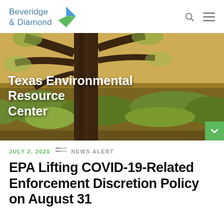Beveridge & Diamond
[Figure (photo): Outdoor landscape photo with a large tree trunk in foreground and Texas hill country brush in background with warm golden light. Overlaid title text reads 'Texas Environmental Resource Center'.]
Texas Environmental Resource Center
JULY 2, 2020   NEWS ALERT
EPA Lifting COVID-19-Related Enforcement Discretion Policy on August 31